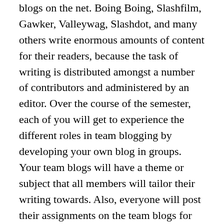blogs on the net. Boing Boing, Slashfilm, Gawker, Valleywag, Slashdot, and many others write enormous amounts of content for their readers, because the task of writing is distributed amongst a number of contributors and administered by an editor. Over the course of the semester, each of you will get to experience the different roles in team blogging by developing your own blog in groups. Your team blogs will have a theme or subject that all members will tailor their writing towards. Also, everyone will post their assignments on the team blogs for your peers and I to read and respond to. I want you to own these blogs, so make as much of them as you can for a particular audience with an interest in your theme. To make things more interesting, everyone will have a chance at the end of the semester to vote on the best blog, and that team will get a prize!